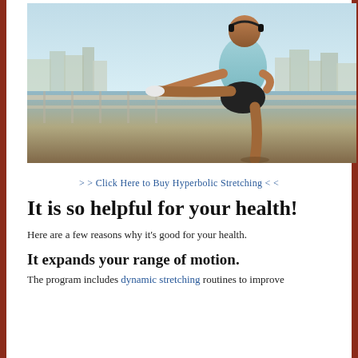[Figure (photo): A muscular man wearing a light blue tank top, black shorts, and headphones, stretching his leg on a railing outdoors with a city skyline in the background.]
> > Click Here to Buy Hyperbolic Stretching < <
It is so helpful for your health!
Here are a few reasons why it's good for your health.
It expands your range of motion.
The program includes dynamic stretching routines to improve...